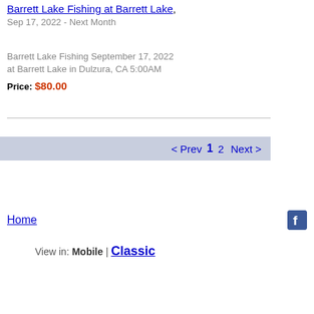Barrett Lake Fishing at Barrett Lake, Sep 17, 2022 - Next Month
Barrett Lake Fishing September 17, 2022 at Barrett Lake in Dulzura, CA 5:00AM
Price: $80.00
< Prev  1  2  Next >
Home
View in: Mobile | Classic